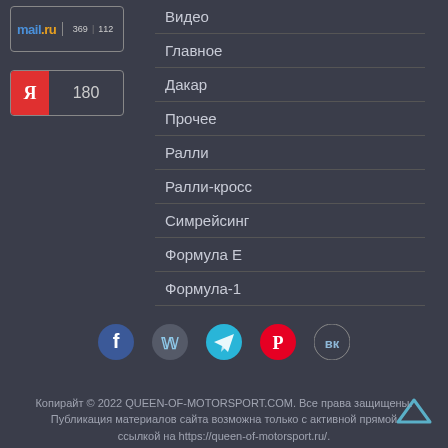[Figure (logo): Mail.ru social share widget with counts 369 and 112]
[Figure (logo): Yandex social share widget with count 180]
Видео
Главное
Дакар
Прочее
Ралли
Ралли-кросс
Симрейсинг
Формула Е
Формула-1
[Figure (infographic): Row of social media icons: Facebook, Twitter, Telegram, Pinterest, VKontakte]
Копирайт © 2022 QUEEN-OF-MOTORSPORT.COM. Все права защищены. Публикация материалов сайта возможна только с активной прямой ссылкой на https://queen-of-motorsport.ru/.